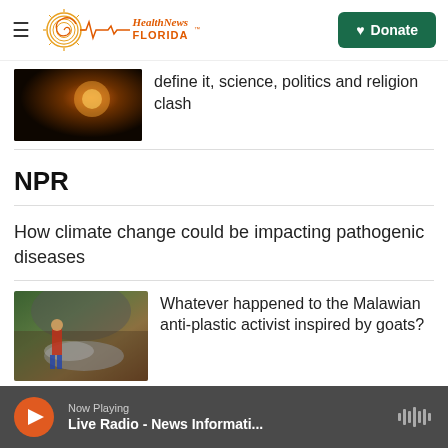Health News Florida — Donate
[Figure (screenshot): Partial article thumbnail showing a dark orange/sunflower image]
define it, science, politics and religion clash
NPR
How climate change could be impacting pathogenic diseases
[Figure (photo): A person in a red plaid shirt standing near a large pile of plastic waste under a bridge]
Whatever happened to the Malawian anti-plastic activist inspired by goats?
Now Playing — Live Radio - News Informati...